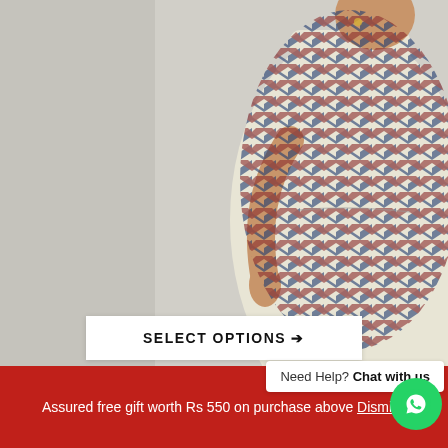[Figure (photo): Woman wearing a knee-length dress with a red, navy blue, and cream herringbone/chevron print pattern. Three-quarter length sleeves, gathered waist. Background is a light grey/white wall.]
SELECT OPTIONS →
Need Help? Chat with us
Assured free gift worth Rs 550 on purchase above Dismiss